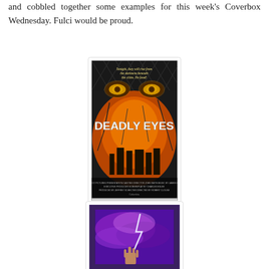and cobbled together some examples for this week's Coverbox Wednesday. Fulci would be proud.
[Figure (photo): Movie poster for 'Deadly Eyes' — horror film poster showing glowing yellow eyes above a cityscape with chain-link fence and fiery orange background, with tagline 'Tonight, they will rise from the darkness beneath the cities. No food!']
[Figure (photo): Partial view of a second movie cover with purple and blue stormy sky background, lightning, and a hand reaching upward]